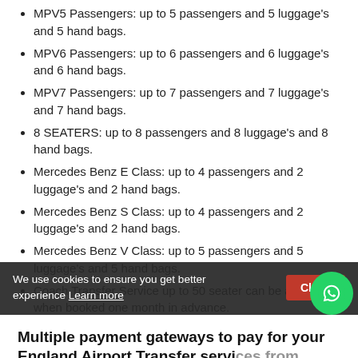MPV5 Passengers: up to 5 passengers and 5 luggage's and 5 hand bags.
MPV6 Passengers: up to 6 passengers and 6 luggage's and 6 hand bags.
MPV7 Passengers: up to 7 passengers and 7 luggage's and 7 hand bags.
8 SEATERS: up to 8 passengers and 8 luggage's and 8 hand bags.
Mercedes Benz E Class: up to 4 passengers and 2 luggage's and 2 hand bags.
Mercedes Benz S Class: up to 4 passengers and 2 luggage's and 2 hand bags.
Mercedes Benz V Class: up to 5 passengers and 5 luggage's and 5 hand bags.
Coach Transfer Service up to 50 seater can be arranged when booked one month in advance.
Multiple payment gateways to pay for your England Airport Transfer services from Heathfield to London Gatwick Airport:
We provide an excellent airport taxi services in London to our